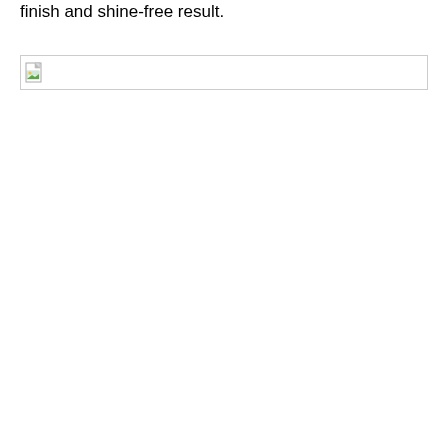finish and shine-free result.
[Figure (photo): Broken image placeholder icon with a small landscape thumbnail icon and a border box]